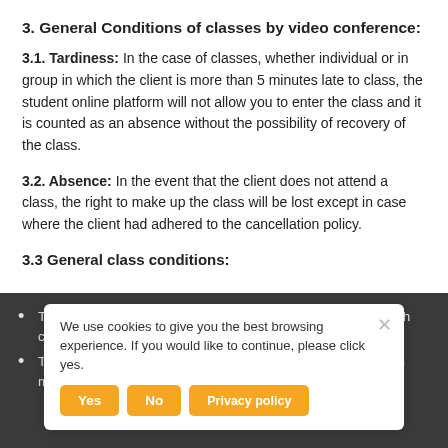3. General Conditions of classes by video conference:
3.1. Tardiness: In the case of classes, whether individual or in group in which the client is more than 5 minutes late to class, the student online platform will not allow you to enter the class and it is counted as an absence without the possibility of recovery of the class.
3.2. Absence: In the event that the client does not attend a class, the right to make up the class will be lost except in case where the client had adhered to the cancellation policy.
3.3 General class conditions:
The client agrees to wear headphones for the duration of each class.
The client agrees that they will be located in a quiet zone with minimal background noise.
We use cookies to give you the best browsing experience. If you would like to continue, please click yes.